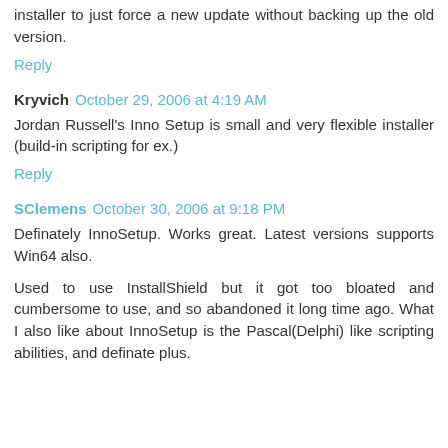installer to just force a new update without backing up the old version.
Reply
Kryvich  October 29, 2006 at 4:19 AM
Jordan Russell's Inno Setup is small and very flexible installer (build-in scripting for ex.)
Reply
SClemens  October 30, 2006 at 9:18 PM
Definately InnoSetup. Works great. Latest versions supports Win64 also.
Used to use InstallShield but it got too bloated and cumbersome to use, and so abandoned it long time ago. What I also like about InnoSetup is the Pascal(Delphi) like scripting abilities, and definate plus.